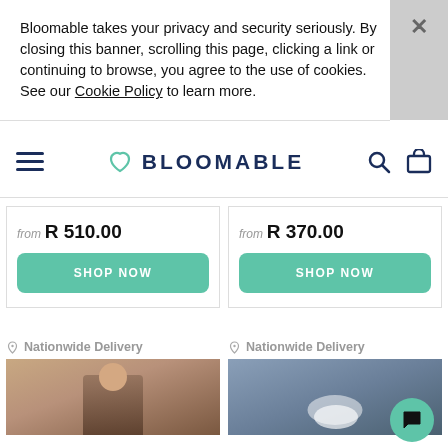Bloomable takes your privacy and security seriously. By closing this banner, scrolling this page, clicking a link or continuing to browse, you agree to the use of cookies. See our Cookie Policy to learn more.
[Figure (logo): Bloomable logo with heart icon, hamburger menu, search and cart icons in navy blue]
from R 510.00
SHOP NOW
from R 370.00
SHOP NOW
Nationwide Delivery
[Figure (photo): Woman smiling, wearing a blue top and white scarf]
Nationwide Delivery
[Figure (photo): White flowers arrangement on a grey/blue background]